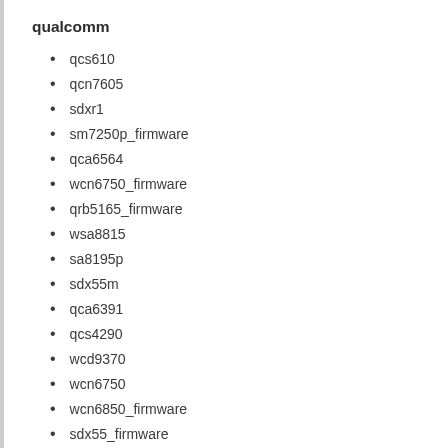qualcomm
qcs610
qcn7605
sdxr1
sm7250p_firmware
qca6564
wcn6750_firmware
qrb5165_firmware
wsa8815
sa8195p
sdx55m
qca6391
qcs4290
wcd9370
wcn6750
wcn6850_firmware
sdx55_firmware
wcd9375
qcn7605_firmware
wsa8835
sd765g
wcd9341_firmware